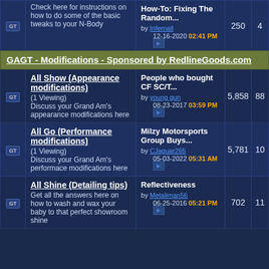|  | Forum | Last Post | Threads | Posts |
| --- | --- | --- | --- | --- |
| GT | Check here for instructions on how to do some of the basic tweaks to your N-Body | How-To: Fixing The Random... by Infernall 12-16-2020 02:41 PM | 250 | 4 |
| Section | GAGT - Modifications - Sponsored by RedlineGoods.com |  |  |  |
| GT | All Show (Appearance modifications) (1 Viewing) Discuss your Grand Am's appearance modifications here | People who bought CF SC/T... by young_gun 08-23-2017 03:59 PM | 5,858 | 88 |
| GT | All Go (Performance modifications) (1 Viewing) Discuss your Grand Am's performace modifications here | Milzy Motorsports Group Buys... by CJaguar265 05-03-2022 05:31 AM | 5,781 | 10 |
| GT | All Shine (Detailing tips) Get all the answers here on how to wash and wax your baby to that perfect showroom shine | Reflectiveness by Metaliman56 06-25-2016 05:21 PM | 702 | 11 |